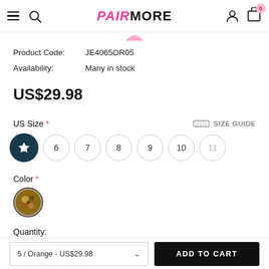PAIRMORE navigation bar with hamburger, search, logo, user and cart icons
Product Code: JE4065OR05
Availability: Many in stock
US$29.98
US Size * SIZE GUIDE
Size options: 5 (selected), 6, 7, 8, 9, 10, 11
Color *
Quantity:
5 / Orange - US$29.98  ADD TO CART